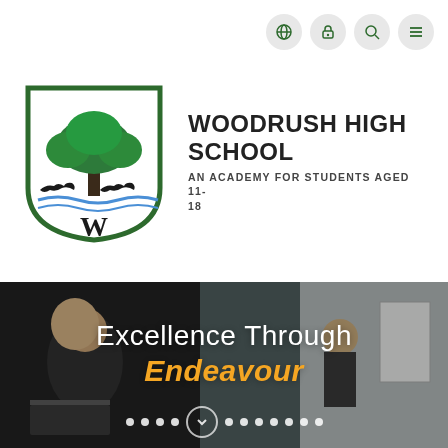[Figure (other): Navigation icons row with globe, lock, search, and menu (hamburger) icons in light grey circles, top right]
[Figure (logo): Woodrush High School shield crest logo: green shield border with a large oak tree in the center, two running black animals (dogs/horses) at the base, waves, and a W letter at the bottom]
WOODRUSH HIGH SCHOOL
AN ACADEMY FOR STUDENTS AGED 11-18
[Figure (photo): A classroom scene with students sitting around a table with laptops. A smiling female student stands at a whiteboard/flipchart. Dark, moody lighting with the school motto overlaid.]
Excellence Through
Endeavour